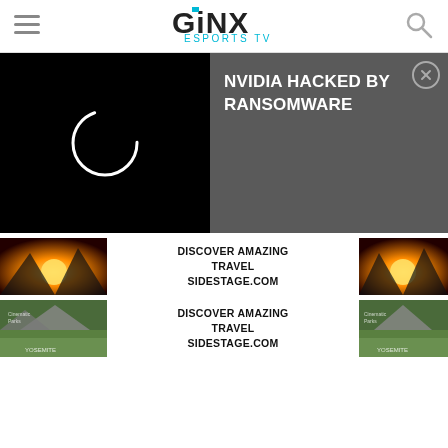GINX ESPORTS TV
[Figure (screenshot): Video player showing loading spinner on black background]
NVIDIA HACKED BY RANSOMWARE
[Figure (photo): Advertisement: DISCOVER AMAZING TRAVEL SIDESTAGE.COM with sunset landscape thumbnail]
[Figure (photo): Advertisement: DISCOVER AMAZING TRAVEL SIDESTAGE.COM with Yosemite landscape thumbnail]